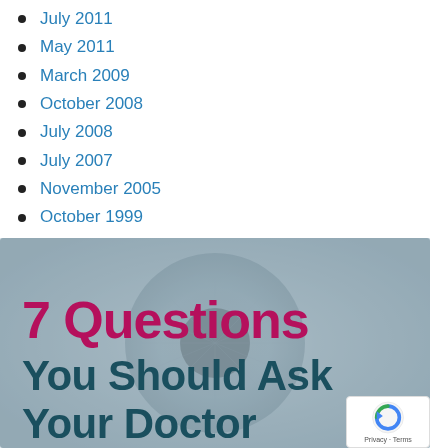July 2011
May 2011
March 2009
October 2008
July 2008
July 2007
November 2005
October 1999
[Figure (infographic): Close-up background of a human eye with text overlay reading '7 Questions You Should Ask Your Doctor'. '7 Questions' is in bold crimson/magenta, 'You Should Ask Your Doctor' is in bold dark teal.]